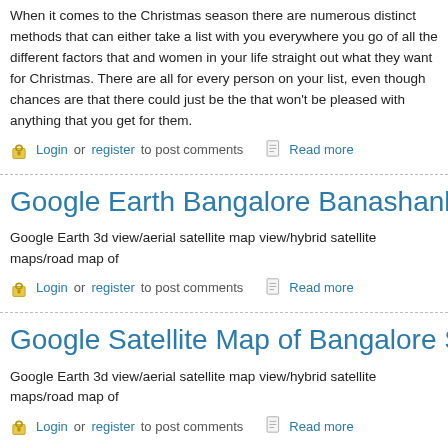When it comes to the Christmas season there are numerous distinct methods that... can either take a list with you everywhere you go of all the different factors that... and women in your life straight out what they want for Christmas. There are all... for every person on your list, even though chances are that there could just be th... that won't be pleased with anything that you get for them.
Login or register to post comments   Read more
Google Earth Bangalore Banashankari Bus...
Google Earth 3d view/aerial satellite map view/hybrid satellite maps/road map of...
Login or register to post comments   Read more
Google Satellite Map of Bangalore Shanti N...
Google Earth 3d view/aerial satellite map view/hybrid satellite maps/road map of...
Login or register to post comments   Read more